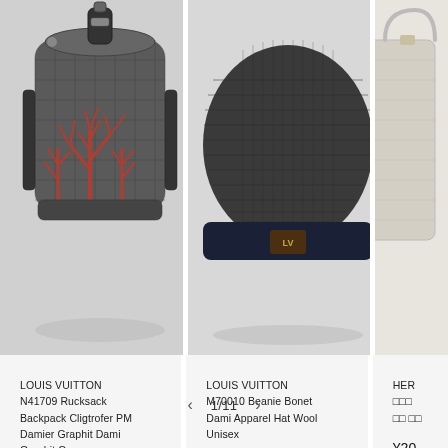[Figure (photo): Louis Vuitton Damier Graphite Cligtrofer PM backpack with red pattern detail, grey and black]
[Figure (photo): Louis Vuitton M70010 Beanie Bonet Dami Apparel Hat Wool Unisex, dark grey/charcoal knit beanie with navy brim and LV logo patch]
[Figure (photo): Hermes item partially visible, light beige/cream colored]
LOUIS VUITTON
N41709 Rucksack Backpack Cligtrofer PM Damier Graphit Dami Graphit Canvas Backpack Daypack
¥340,200 JPY
LOUIS VUITTON
M70010 Beanie Bonet Dami Apparel Hat Wool Unisex
¥26,450 JPY
HER
¥20...
1/11